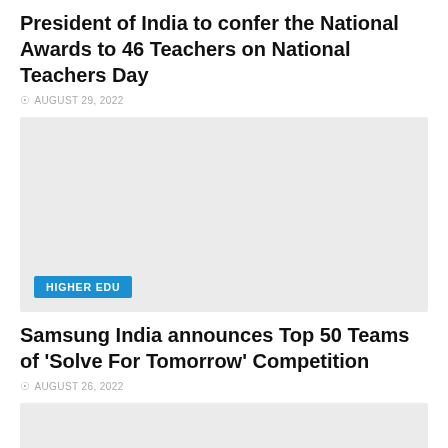President of India to confer the National Awards to 46 Teachers on National Teachers Day
AUGUST 29, 2022
[Figure (photo): Grey placeholder image with HIGHER EDU badge]
HIGHER EDU
Samsung India announces Top 50 Teams of ‘Solve For Tomorrow’ Competition
AUGUST 26, 2022
[Figure (photo): Grey placeholder image at bottom of page]